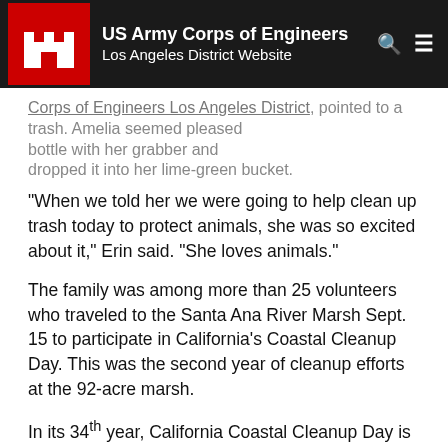US Army Corps of Engineers Los Angeles District Website
a scoured the ground for trash, Erin, who works for the U.S. Army® Corps of Engineers Los Angeles District, pointed to a trash. Amelia seemed pleased bottle with her grabber and dropped it into her lime-green bucket.
“When we told her we were going to help clean up trash today to protect animals, she was so excited about it,” Erin said. “She loves animals.”
The family was among more than 25 volunteers who traveled to the Santa Ana River Marsh Sept. 15 to participate in California’s Coastal Cleanup Day. This was the second year of cleanup efforts at the 92-acre marsh.
In its 34th year, California Coastal Cleanup Day is one of the state’s largest annual volunteer events, organized by the California Coastal Commission. It is part of the International Coastal Cleanup, organized by the Ocean Conservancy.
This year, more than more than 53,000 volunteers picked up about 367 tons of trash and recyclable materials across the state, according to the California Coastal Cleanup Commission’s